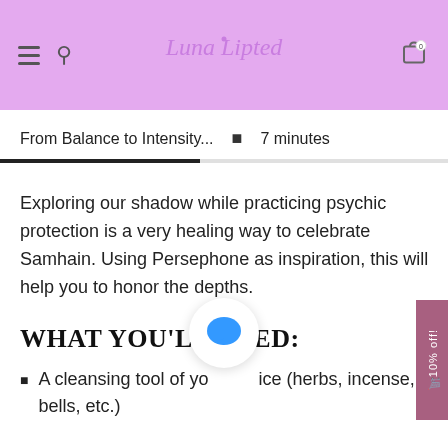Luna Lipted — navigation header with hamburger menu, search icon, logo, and cart icon
From Balance to Intensity...  •  7 minutes
Exploring our shadow while practicing psychic protection is a very healing way to celebrate Samhain. Using Persephone as inspiration, this will help you to honor the depths.
WHAT YOU'LL NEED:
A cleansing tool of your choice (herbs, incense, bells, etc.)